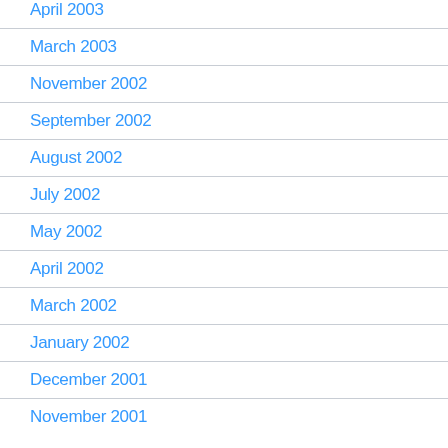April 2003
March 2003
November 2002
September 2002
August 2002
July 2002
May 2002
April 2002
March 2002
January 2002
December 2001
November 2001